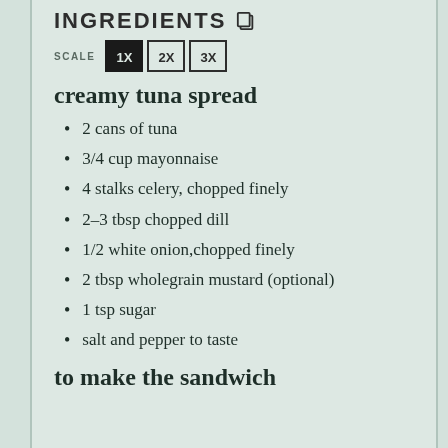INGREDIENTS
SCALE 1X 2X 3X
creamy tuna spread
2 cans of tuna
3/4 cup mayonnaise
4 stalks celery, chopped finely
2–3 tbsp chopped dill
1/2 white onion,chopped finely
2 tbsp wholegrain mustard (optional)
1 tsp sugar
salt and pepper to taste
to make the sandwich